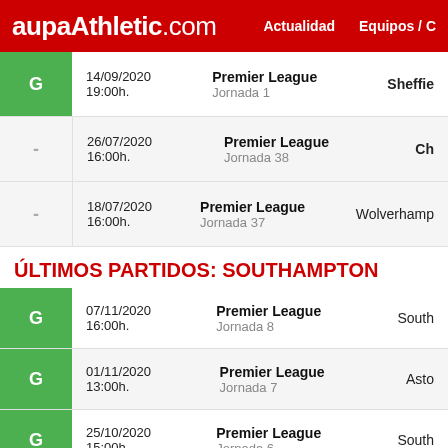aupaAthletic.com | Actualidad | Equipos / C
| Result | Date/Time | Competition | Team |
| --- | --- | --- | --- |
| G | 14/09/2020 19:00h. | Premier League Jornada 1 | Sheffie... |
| - | 26/07/2020 16:00h. | Premier League Jornada 38 | Ch... |
| - | 18/07/2020 16:00h. | Premier League Jornada 37 | Wolverhamp... |
ÚLTIMOS PARTIDOS: SOUTHAMPTON
| Result | Date/Time | Competition | Team |
| --- | --- | --- | --- |
| G | 07/11/2020 16:00h. | Premier League Jornada 8 | South... |
| G | 01/11/2020 13:00h. | Premier League Jornada 7 | Asto... |
| G | 25/10/2020 15:00h. | Premier League Jornada 6 | South... |
| E | 17/10/2020 16:00h. | Premier League Jornada 5 | Ch... |
| G | 04/10/2020 13:00h. | Premier League Jornada 4 | South... |